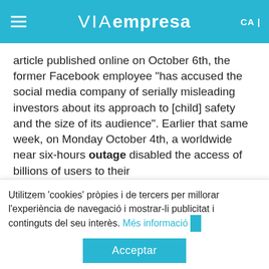VIAempresa CA
article published online on October 6th, the former Facebook employee "has accused the social media company of serially misleading investors about its approach to [child] safety and the size of its audience". Earlier that same week, on Monday October 4th, a worldwide near six-hours outage disabled the access of billions of users to their social media accounts held by Facebook's platforms including Instagram and WhatsApp.
Utilitzem 'cookies' pròpies i de tercers per millorar l'experiència de navegació i mostrar-li publicitat i continguts del seu interès. Més informació
Acceptar